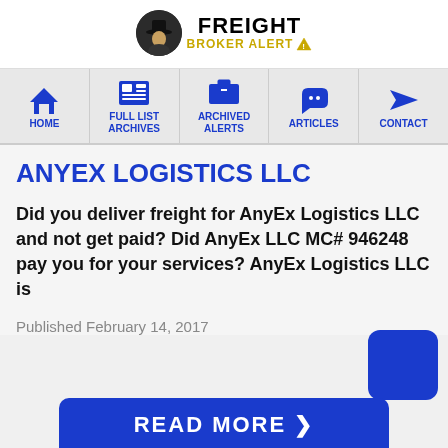[Figure (logo): Freight Broker Alert logo with a silhouette of a detective figure in a circular badge and bold text FREIGHT BROKER ALERT with warning triangle icon]
[Figure (infographic): Navigation bar with 5 items: HOME, FULL LIST ARCHIVES, ARCHIVED ALERTS, ARTICLES, CONTACT — each with a blue icon above the text label]
ANYEX LOGISTICS LLC
Did you deliver freight for AnyEx Logistics LLC and not get paid? Did AnyEx LLC MC# 946248 pay you for your services? AnyEx Logistics LLC is
Published February 14, 2017
[Figure (other): READ MORE button in blue at the bottom of the page]